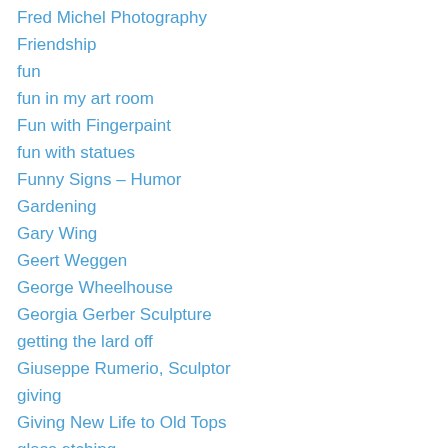Fred Michel Photography
Friendship
fun
fun in my art room
Fun with Fingerpaint
fun with statues
Funny Signs – Humor
Gardening
Gary Wing
Geert Weggen
George Wheelhouse
Georgia Gerber Sculpture
getting the lard off
Giuseppe Rumerio, Sculptor
giving
Giving New Life to Old Tops
glass etching
Glynnis Miller
Good in the World
Good Thoughts